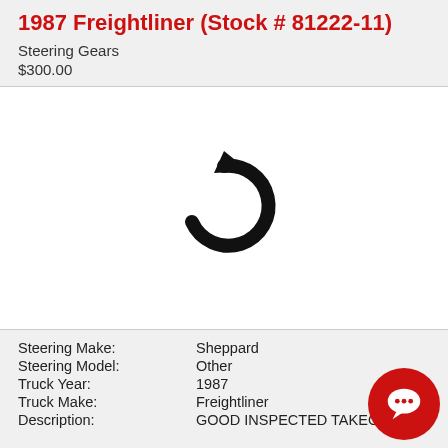1987 Freightliner (Stock # 81222-11)
Steering Gears
$300.00
[Figure (other): Loading/refresh icon (circular arrow) indicating an image placeholder that is loading or failed to load]
Steering Make:    Sheppard
Steering Model:    Other
Truck Year:    1987
Truck Make:    Freightliner
Description:    GOOD INSPECTED TAKEOUT 90